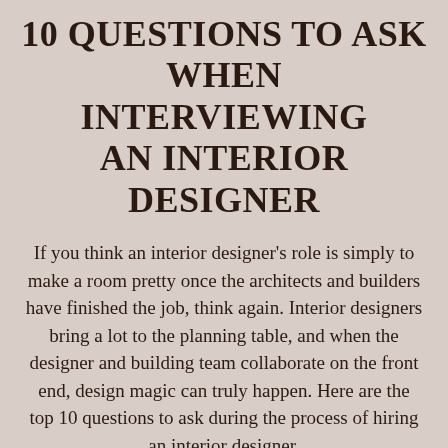10 QUESTIONS TO ASK WHEN INTERVIEWING AN INTERIOR DESIGNER
If you think an interior designer's role is simply to make a room pretty once the architects and builders have finished the job, think again. Interior designers bring a lot to the planning table, and when the designer and building team collaborate on the front end, design magic can truly happen. Here are the top 10 questions to ask during the process of hiring an interior designer.